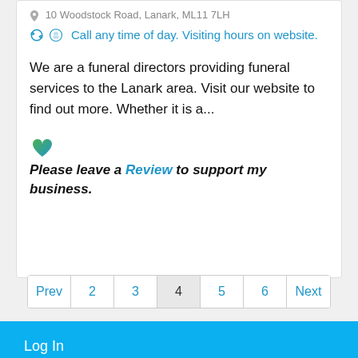Call any time of day. Visiting hours on website.
We are a funeral directors providing funeral services to the Lanark area. Visit our website to find out more. Whether it is a...
Please leave a Review to support my business.
Prev 2 3 4 5 6 Next